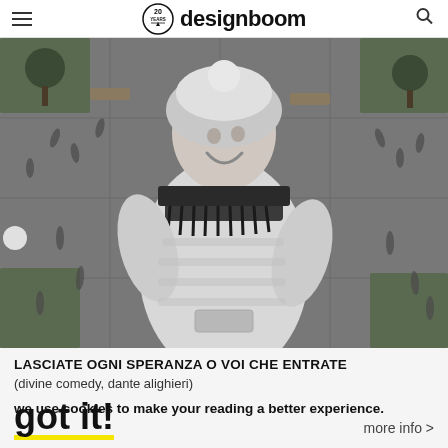designboom (20 years logo)
[Figure (photo): Aerial black and white photo of a giant girl figure (street art/mural) pasted on a public square, surrounded by many small people walking around casting shadows, trees visible at edges.]
LASCIATE OGNI SPERANZA O VOI CHE ENTRATE
(divine comedy, dante alighieri)
we use cookies to make your reading a better experience.
got it!
more info >